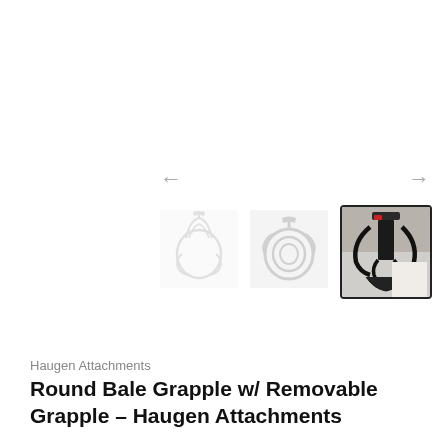[Figure (photo): Product image gallery showing three thumbnail photos of a Round Bale Grapple attachment. Third thumbnail is selected/active with dark border. Two navigation arrows (left and right) are shown above the thumbnails.]
Haugen Attachments
Round Bale Grapple w/ Removable Grapple – Haugen Attachments